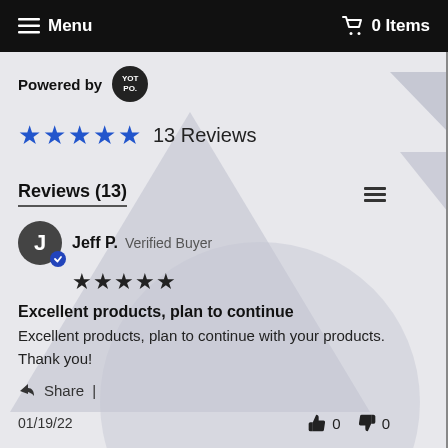☰ Menu   🛒 0 Items
Powered by YOTPO.
★★★★★ 13 Reviews
Reviews (13)
Jeff P. Verified Buyer
★★★★★
Excellent products, plan to continue
Excellent products, plan to continue with your products. Thank you!
Share |
01/19/22   👍 0   👎 0